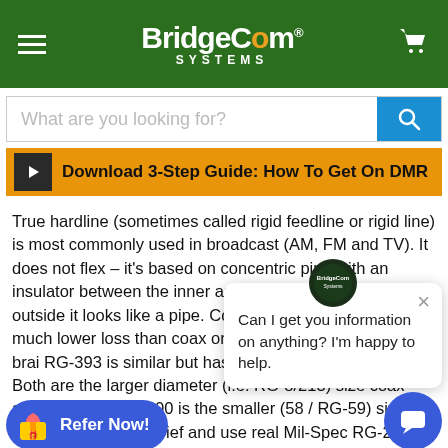[Figure (logo): BridgeCom Systems website header with green background, hamburger menu, BridgeCom Systems logo in white, and shopping cart icon]
[Figure (screenshot): Search bar with placeholder text 'What are you looking for?' and blue search button]
[Figure (screenshot): Orange download banner with play button and text 'Download 3-Step Guide: How To Get On DMR']
True hardline (sometimes called rigid feedline or rigid line) is most commonly used in broadcast (AM, FM and TV). It does not flex – it's based on concentric pipe with an insulator between the inner and outer conductor. From the outside it looks like a pipe. Common sizes range from 3/4 much lower loss than coax or 214 has two silver-plated brai RG-393 is similar but has a Teflon® outer jacket. Both are the larger diameter (i.e. RG-8/213) size coax and RG-142 / RG-400 is the smaller (58 / RG-59) size. Please save some grief and use real Mil-Spec RG-214 or RG-393 as the jumper
[Figure (screenshot): Chat popup with BridgeCom logo, close button, and message 'Can I get you information on anything? I'm happy to help.']
[Figure (screenshot): Blue chat bubble button in bottom right corner]
[Figure (screenshot): Blue 'Refer Now!' button with gift icon in bottom left]